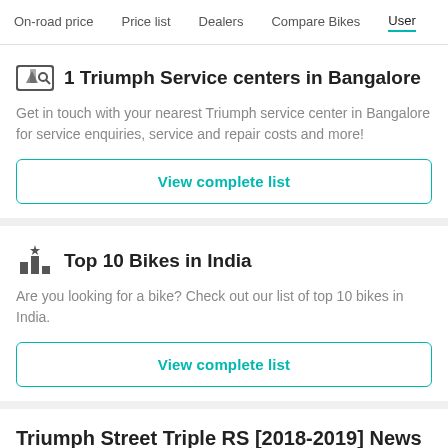On-road price  Price list  Dealers  Compare Bikes  User
1 Triumph Service centers in Bangalore
Get in touch with your nearest Triumph service center in Bangalore for service enquiries, service and repair costs and more!
View complete list
Top 10 Bikes in India
Are you looking for a bike? Check out our list of top 10 bikes in India.
View complete list
Triumph Street Triple RS [2018-2019] News